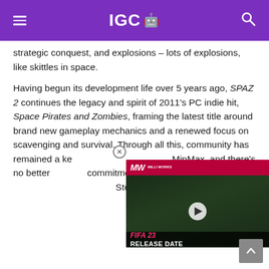IGC 🤖
strategic conquest, and explosions – lots of explosions, like skittles in space.
Having begun its development life over 5 years ago, SPAZ 2 continues the legacy and spirit of 2011's PC indie hit, Space Pirates and Zombies, framing the latest title around brand new gameplay mechanics and a renewed focus on scavenging and survival. Through all this, community has remained a key pillar for the team at MinMax, and there's no better commitment to SPAZ's passion Steam Early Access.
[Figure (screenshot): Video overlay for FIFA 23 Release Date from MilliWorks (MW) channel with play button]